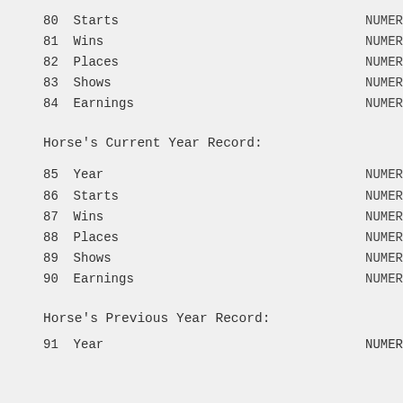80 Starts   NUMER
81 Wins   NUMER
82 Places   NUMER
83 Shows   NUMER
84 Earnings   NUMER
Horse's Current Year Record:
85 Year   NUMER
86 Starts   NUMER
87 Wins   NUMER
88 Places   NUMER
89 Shows   NUMER
90 Earnings   NUMER
Horse's Previous Year Record:
91 Year   NUMER